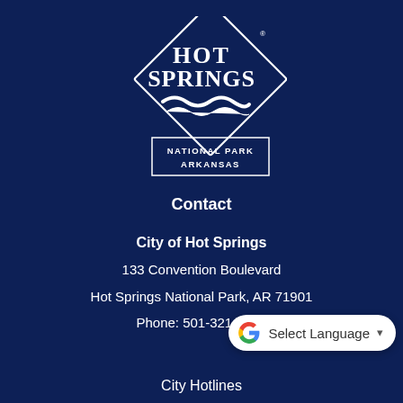[Figure (logo): Hot Springs National Park Arkansas city logo — white diamond/square shape rotated 45 degrees with 'HOT SPRINGS' text and a wave graphic, 'NATIONAL PARK ARKANSAS' text below, on dark navy blue background]
Contact
City of Hot Springs
133 Convention Boulevard
Hot Springs National Park, AR 71901
Phone: 501-321-6808
[Figure (screenshot): Google Translate 'Select Language' widget button with Google G logo and dropdown arrow]
City Hotlines